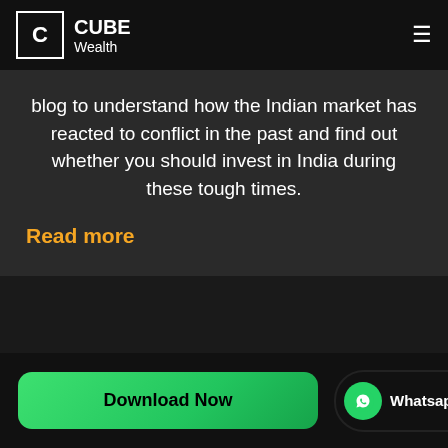[Figure (logo): Cube Wealth logo with white C in a square box and text CUBE Wealth in white, hamburger menu icon on the right]
blog to understand how the Indian market has reacted to conflict in the past and find out whether you should invest in India during these tough times.
Read more
[Figure (other): Download Now green button and Whatsapp button with green circle icon]